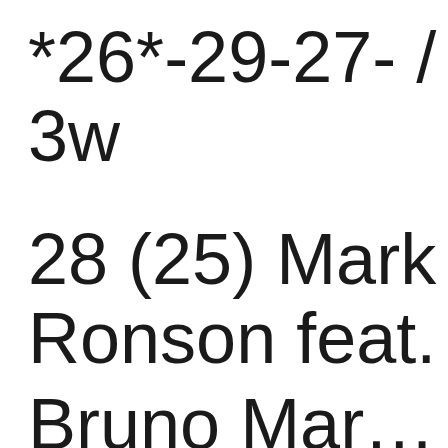*26*-29-27- /
3w
28 (25) Mark Ronson feat.
Bruno Mars...